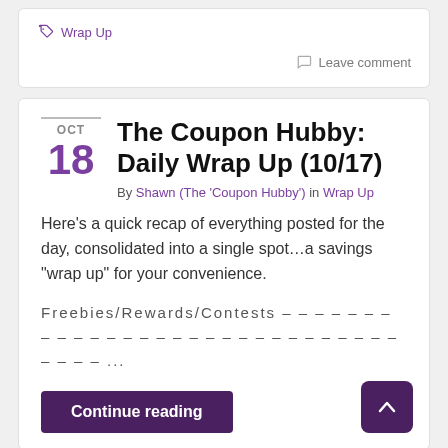Wrap Up
Leave comment
The Coupon Hubby: Daily Wrap Up (10/17)
By Shawn (The 'Coupon Hubby') in Wrap Up
Here’s a quick recap of everything posted for the day, consolidated into a single spot…a savings “wrap up” for your convenience.
Freebies/Rewards/Contests – – – – – – – – – – – – – – – – – – – – – – – ...
Continue reading